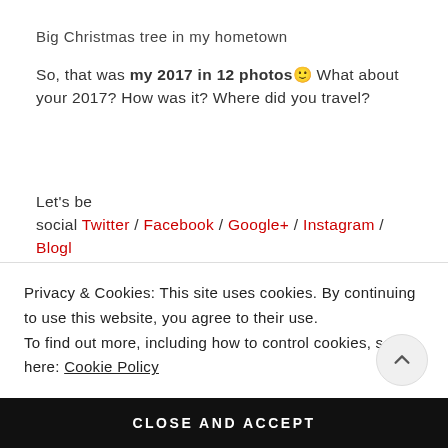Big Christmas tree in my hometown
So, that was my 2017 in 12 photos 🙂 What about your 2017? How was it? Where did you travel?
Let's be social Twitter / Facebook / Google+ / Instagram / Blogl
Privacy & Cookies: This site uses cookies. By continuing to use this website, you agree to their use. To find out more, including how to control cookies, see here: Cookie Policy
CLOSE AND ACCEPT